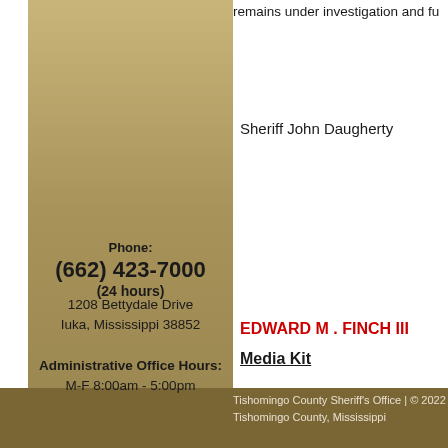remains under investigation and fu
Sheriff John Daugherty
Phone:
(662) 423-7000
(24 hours)
1208 Bettydale Drive
Iuka, Mississippi 38852
Administrative Office Hours:
M-F 8:00am - 5:00pm
EDWARD M . FINCH III
Media Kit
Tishomingo County Sheriff's Office | © 2022
Tishomingo County, Mississippi